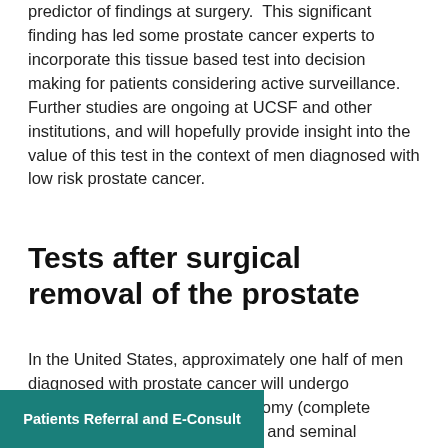predictor of findings at surgery.  This significant finding has led some prostate cancer experts to incorporate this tissue based test into decision making for patients considering active surveillance.  Further studies are ongoing at UCSF and other institutions, and will hopefully provide insight into the value of this test in the context of men diagnosed with low risk prostate cancer.
Tests after surgical removal of the prostate
In the United States, approximately one half of men diagnosed with prostate cancer will undergo treatment with radical prostatectomy (complete surgical removal of [the prostate and seminal ve]sicles).  Of these, roughly [30% will experience a rec]urrence of disease detected [by prostate specific an]tigen (PSA).  Known risk
Patients Referral and E-Consult